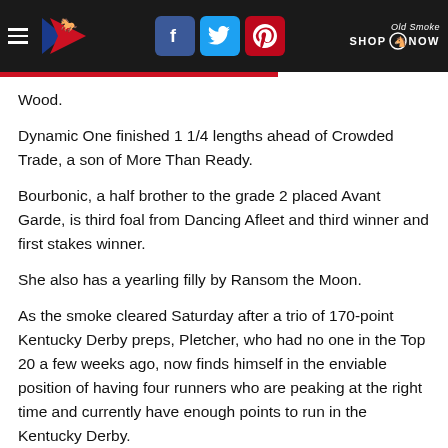Navigation header with logo, social icons (Facebook, Twitter, Pinterest), and Old Smoke Shop Now link
Wood.
Dynamic One finished 1 1/4 lengths ahead of Crowded Trade, a son of More Than Ready.
Bourbonic, a half brother to the grade 2 placed Avant Garde, is third foal from Dancing Afleet and third winner and first stakes winner.
She also has a yearling filly by Ransom the Moon.
As the smoke cleared Saturday after a trio of 170-point Kentucky Derby preps, Pletcher, who had no one in the Top 20 a few weeks ago, now finds himself in the enviable position of having four runners who are peaking at the right time and currently have enough points to run in the Kentucky Derby.